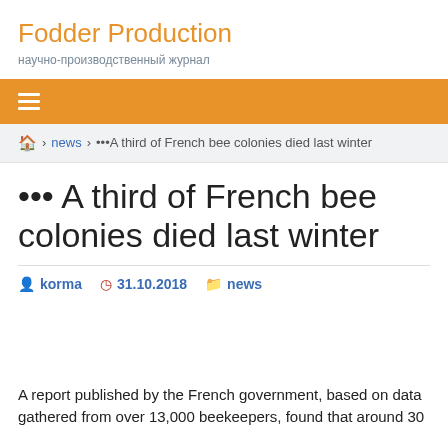Fodder Production
научно-производственный журнал
≡ (navigation menu)
🏠 › news › ···A third of French bee colonies died last winter
···A third of French bee colonies died last winter
korma  31.10.2018  news
A report published by the French government, based on data gathered from over 13,000 beekeepers, found that around 30